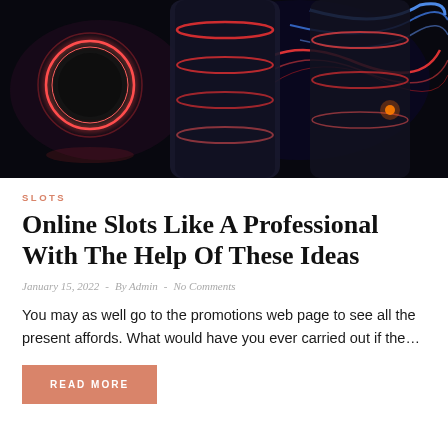[Figure (photo): Dark background with glowing neon casino chips and swirling red and blue neon light trails]
SLOTS
Online Slots Like A Professional With The Help Of These Ideas
January 15, 2022  -  By Admin  -  No Comments
You may as well go to the promotions web page to see all the present affords. What would have you ever carried out if the…
READ MORE